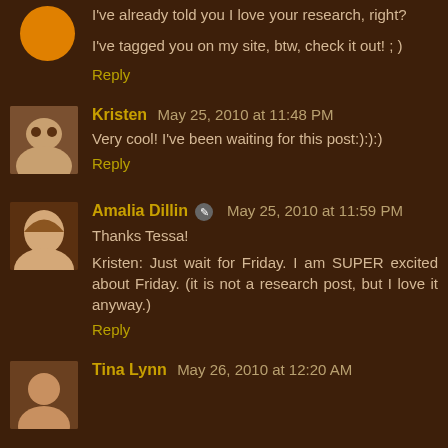I've already told you I love your research, right?
I've tagged you on my site, btw, check it out! ; )
Reply
Kristen May 25, 2010 at 11:48 PM
Very cool! I've been waiting for this post:):):)
Reply
Amalia Dillin ✎ May 25, 2010 at 11:59 PM
Thanks Tessa!
Kristen: Just wait for Friday. I am SUPER excited about Friday. (it is not a research post, but I love it anyway.)
Reply
Tina Lynn May 26, 2010 at 12:20 AM